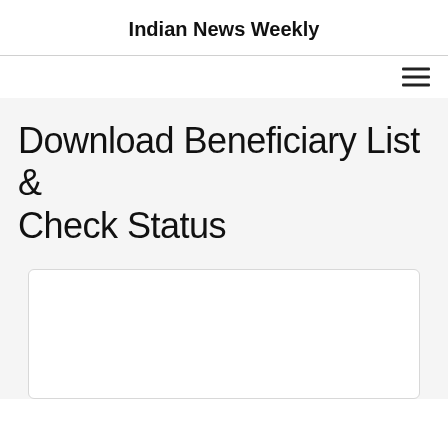Indian News Weekly
Download Beneficiary List & Check Status
[Figure (other): White card/box placeholder area with rounded border]